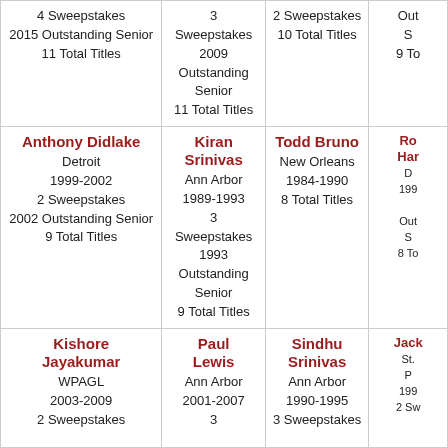| Col1 | Col2 | Col3 | Col4 |
| --- | --- | --- | --- |
| 4 Sweepstakes
2015 Outstanding Senior
11 Total Titles | 3 Sweepstakes
2009 Outstanding Senior
11 Total Titles | 2 Sweepstakes
10 Total Titles | Out...
S...
9 To... |
| Anthony Didlake
Detroit
1999-2002
2 Sweepstakes
2002 Outstanding Senior
9 Total Titles | Kiran Srinivas
Ann Arbor
1989-1993
3 Sweepstakes
1993 Outstanding Senior
9 Total Titles | Todd Bruno
New Orleans
1984-1990
8 Total Titles | Ro...
Har...
D...
199...
Outs...
S...
8 To... |
| Kishore Jayakumar
WPAGL
2003-2009
2 Sweepstakes | Paul Lewis
Ann Arbor
2001-2007
3 | Sindhu Srinivas
Ann Arbor
1990-1995
3 Sweepstakes | Jack...
St....
P...
199...
2 Sw... |